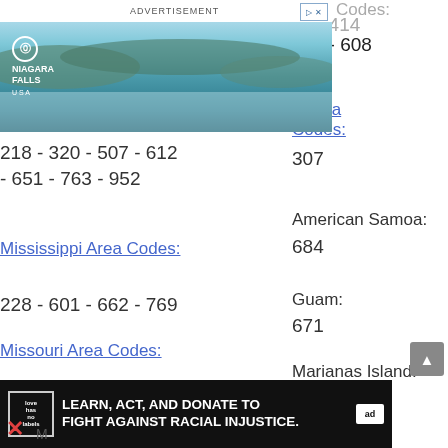734 - 810
[Figure (screenshot): Advertisement banner: Niagara Falls USA with waterfall image]
262 - 414
- 534 - 608
20
g Area
Codes:
307
218 - 320 - 507 - 612 - 651 - 763 - 952
American Samoa:
684
Mississippi Area Codes:
228 - 601 - 662 - 769
Guam:
671
Missouri Area Codes:
314 - 417 - 573 - 636 - 660 - 816
Marianas Island:
670
Puerto Ri...
[Figure (screenshot): Bottom advertisement: LEARN, ACT, AND DONATE TO FIGHT AGAINST RACIAL INJUSTICE. with love has no labels logo]